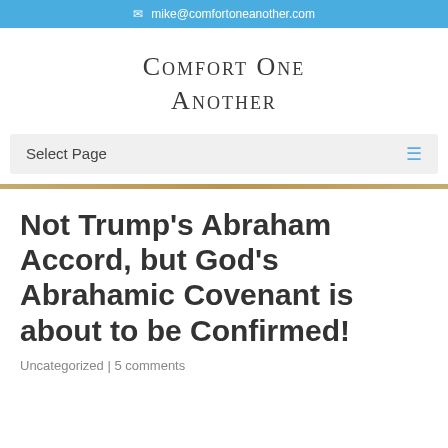mike@comfortoneanother.com
Comfort One Another
Select Page
Not Trump's Abraham Accord, but God's Abrahamic Covenant is about to be Confirmed!
Uncategorized | 5 comments